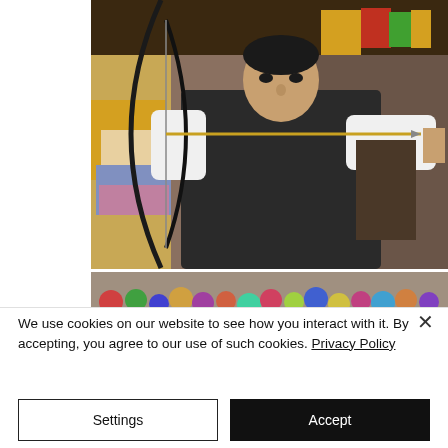[Figure (photo): A man in a traditional dark grey Bhutanese gho robe with white undershirt drawing a large recurve bow at full draw, aiming at an archery target. Colorful decorations and a wooden building visible in the background.]
[Figure (photo): Partial view of a crowd of people watching, with colorful clothing visible.]
We use cookies on our website to see how you interact with it. By accepting, you agree to our use of such cookies. Privacy Policy
Settings
Accept